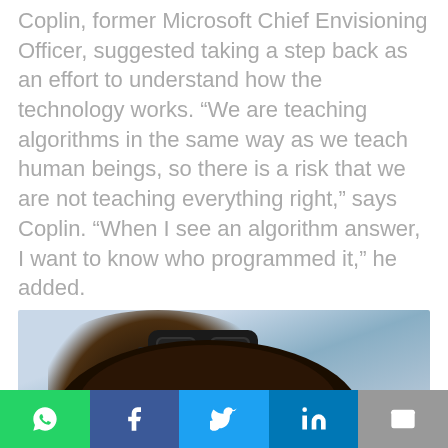Coplin, former Microsoft Chief Envisioning Officer, suggested taking a step back as an effort to understand how the technology works. “We are teaching algorithms in the same way as we teach human beings, so there is a risk that we are not teaching everything right,” says Coplin. “When I see an algorithm answer, I want to know who programmed it,” he added.
[Figure (photo): A person wearing a VR headset, smiling, against a light blue background.]